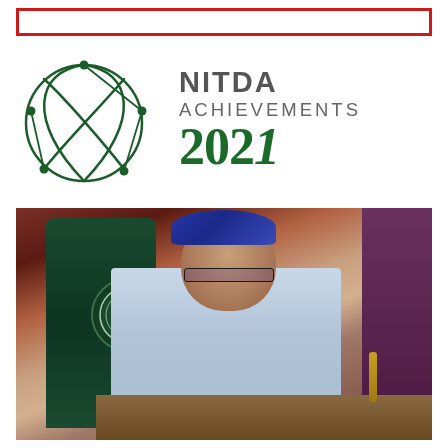[Figure (logo): Red rectangular border frame at top of page]
[Figure (logo): NITDA logo: green globe/network icon on left, text 'NITDA ACHIEVEMENTS 2021' on right with 2021 in large green numerals]
[Figure (photo): Photograph of President Muhammadu Buhari seated at a desk, wearing a blue traditional outfit and cap, with the seal of the Federal Republic of Nigeria visible on the back of his chair]